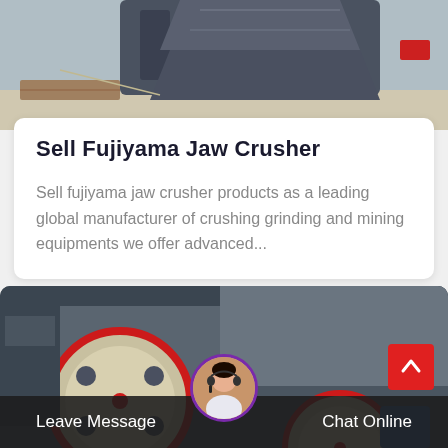[Figure (photo): Close-up of dark grey industrial jaw crusher machine parts]
Sell Fujiyama Jaw Crusher
Sell fujiyama jaw crusher products as a leading global manufacturer of crushing grinding and mining equipments we offer advanced...
[Figure (photo): Industrial factory floor with large red and cream colored crusher wheels/pulleys and bright overhead lighting in a large warehouse]
Leave Message   Chat Online